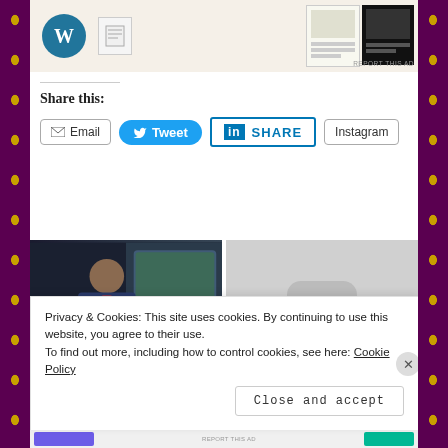[Figure (screenshot): Top portion showing WordPress logo and document/ad images at the top of a webpage]
REPORT THIS AD
Share this:
[Figure (screenshot): Email share button with envelope icon]
[Figure (screenshot): Twitter Tweet button in blue]
[Figure (screenshot): LinkedIn SHARE button]
[Figure (screenshot): Instagram share button]
[Figure (photo): Businessman in a suit sitting in a car with a laptop]
[Figure (screenshot): Grey placeholder image with loading dots icon]
Privacy & Cookies: This site uses cookies. By continuing to use this website, you agree to their use.
To find out more, including how to control cookies, see here: Cookie Policy
Close and accept